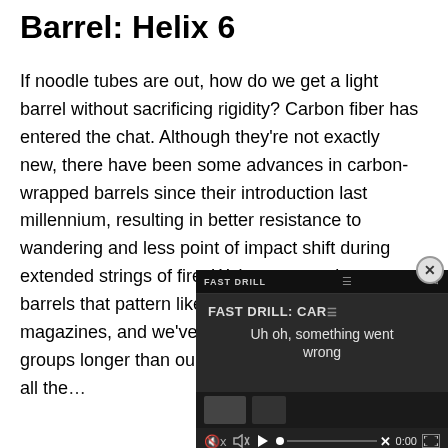Barrel: Helix 6
If noodle tubes are out, how do we get a light barrel without sacrificing rigidity? Carbon fiber has entered the chat. Although they're not exactly new, there have been some advances in carbon-wrapped barrels since their introduction last millennium, resulting in better resistance to wandering and less point of impact shift during extended strings of fire. We've seen carbon barrels that pattern like shotguns after a couple of magazines, and we've shot others that held tight groups longer than our am… they evidently aren't all the…
[Figure (screenshot): Video player overlay showing 'FAST DRILL: CAR' title with error message 'Uh oh, something went wrong', muted speaker icon, play button, progress bar with X marker, timestamp 0:00, and fullscreen button on dark background]